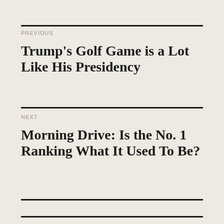PREVIOUS
Trump’s Golf Game is a Lot Like His Presidency
NEXT
Morning Drive: Is the No. 1 Ranking What It Used To Be?